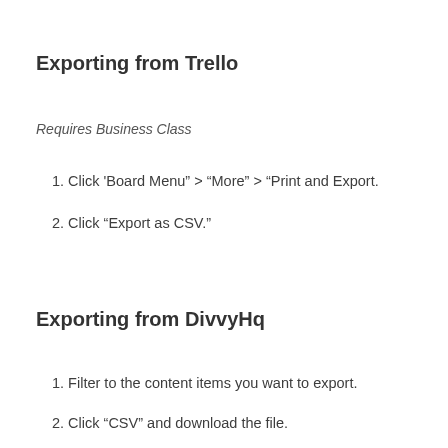Exporting from Trello
Requires Business Class
1. Click 'Board Menu" > "More" > "Print and Export.
2. Click "Export as CSV."
Exporting from DivvyHq
1. Filter to the content items you want to export.
2. Click "CSV" and download the file.